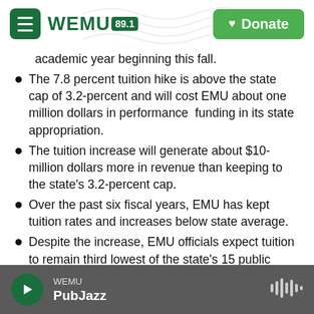WEMU 89.1 | Donate
academic year beginning this fall.
The 7.8 percent tuition hike is above the state cap of 3.2-percent and will cost EMU about one million dollars in performance funding in its state appropriation.
The tuition increase will generate about $10-million dollars more in revenue than keeping to the state's 3.2-percent cap.
Over the past six fiscal years, EMU has kept tuition rates and increases below state average.
Despite the increase, EMU officials expect tuition to remain third lowest of the state's 15 public universities
WEMU | PubJazz